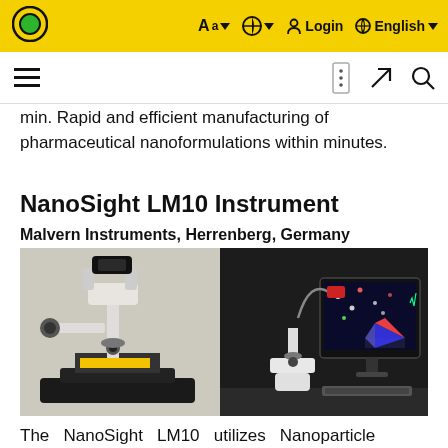Aa  Login  English
min. Rapid and efficient manufacturing of pharmaceutical nanoformulations within minutes.
NanoSight LM10 Instrument
Malvern Instruments, Herrenberg, Germany
[Figure (photo): Two photographs of the NanoSight LM10 instrument: left image shows a white laboratory microscope instrument on a black base with camera attached; right image shows the instrument connected to a computer monitor displaying nanoparticle tracking analysis software with particle tracking and 3D plot.]
The NanoSight LM10 utilizes Nanoparticle Tracking